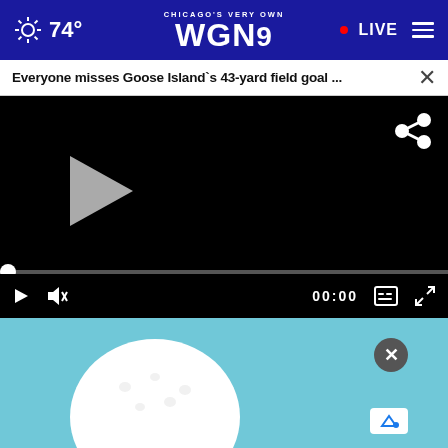CHICAGO'S VERY OWN WGN9 · 74° · LIVE
Everyone misses Goose Island`s 43-yard field goal ...
[Figure (screenshot): Video player showing a paused video with black frame. Controls include a large play button, progress bar with scrubber at start, play/pause, mute, time display 00:00, captions, and fullscreen buttons. A share icon appears top-right.]
[Figure (photo): Advertisement image showing a white golf ball against a light blue background, with a close (X) button and an ad logo/badge in the lower right.]